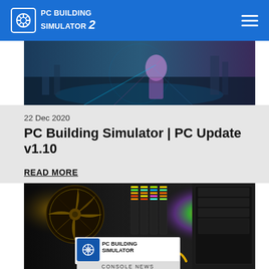PC BUILDING SIMULATOR 2
[Figure (screenshot): Game screenshot on the right side of the header showing colorful game art]
[Figure (screenshot): PC Building Simulator game screenshot showing a character with colorful lighting]
22 Dec 2020
PC Building Simulator | PC Update v1.10
READ MORE
[Figure (screenshot): PC Building Simulator Console News image showing internal PC components with RGB lighting and fans, with logo overlay]